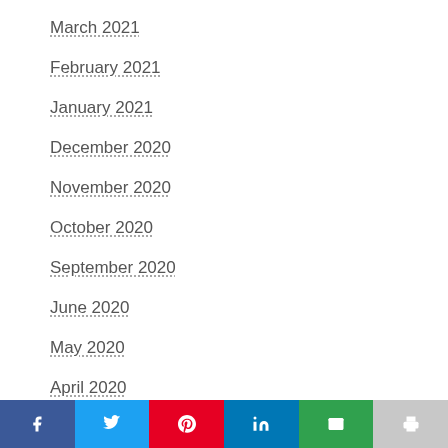March 2021
February 2021
January 2021
December 2020
November 2020
October 2020
September 2020
June 2020
May 2020
April 2020
March 2020
Facebook | Twitter | Pinterest | LinkedIn | Email | Print